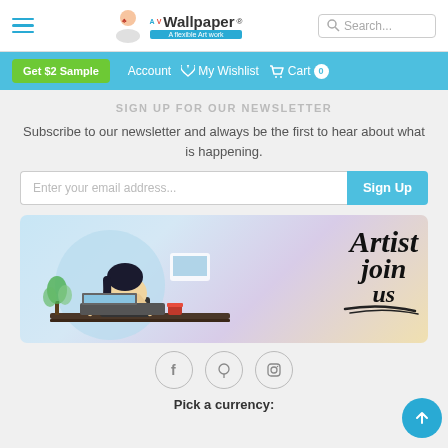Wallpaper - navigation header with hamburger menu, logo, and search bar
Get $2 Sample | Account | My Wishlist | Cart 0
SIGN UP FOR OUR NEWSLETTER
Subscribe to our newsletter and always be the first to hear about what is happening.
Enter your email address... Sign Up
[Figure (illustration): Artist Join Us banner with illustrated woman at desk and decorative script text]
[Figure (illustration): Social media icons: Facebook, Pinterest, Instagram]
Pick a currency: